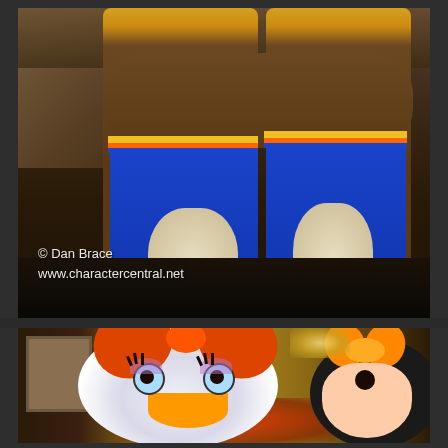[Figure (photo): Two Disney character mascots in brown fur costumes with blue outfits and yellow/orange striped accents, standing with arms crossed in a restaurant or buffet setting. Watermark text reads '© Dan Brace www.charactercentral.net' in lower left corner.]
[Figure (photo): Close-up of Daisy Duck Disney character mascot wearing an orange/red bow, with Minnie Mouse partially visible on the right also wearing an orange bow, in an indoor setting.]